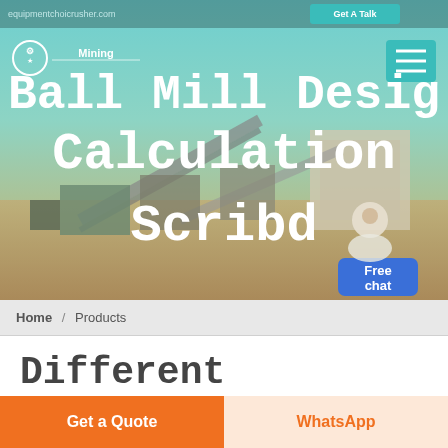equipmentchoicrusher.com    Get A Talk
[Figure (screenshot): Mining equipment / industrial plant hero banner image with conveyor belts and processing equipment, teal/brown background]
Ball Mill Design Calculation Scribd
Free chat
Home / Products
Different Machines To Meet All
Get a Quote
WhatsApp